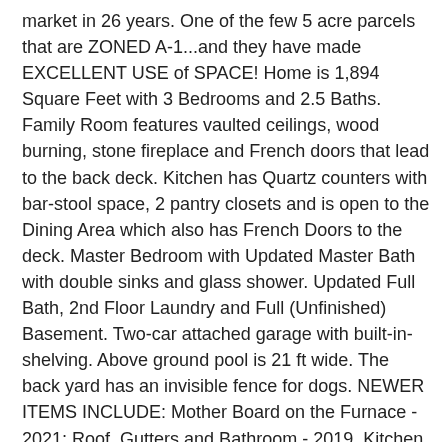market in 26 years. One of the few 5 acre parcels that are ZONED A-1...and they have made EXCELLENT USE of SPACE! Home is 1,894 Square Feet with 3 Bedrooms and 2.5 Baths. Family Room features vaulted ceilings, wood burning, stone fireplace and French doors that lead to the back deck. Kitchen has Quartz counters with bar-stool space, 2 pantry closets and is open to the Dining Area which also has French Doors to the deck. Master Bedroom with Updated Master Bath with double sinks and glass shower. Updated Full Bath, 2nd Floor Laundry and Full (Unfinished) Basement. Two-car attached garage with built-in-shelving. Above ground pool is 21 ft wide. The back yard has an invisible fence for dogs. NEWER ITEMS INCLUDE: Mother Board on the Furnace - 2021; Roof, Gutters and Bathroom - 2019, Kitchen - 2018, Windows - 2017, A/C - 2016. MAIN BARN was built by FBI Buildings in 2001 and is a total of 11,880 Square Feet (90x132). It is FULLY INSULATED and gas lines are piped in if you'd like to heat the entire barn, or wall off the indoor from the stall aisle to heat one or the other. The STALL AISLE already has overhead infrared heaters and has mats from one end to the other. It is